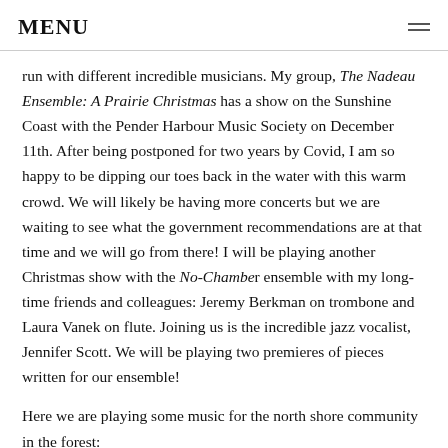MENU
run with different incredible musicians. My group, The Nadeau Ensemble: A Prairie Christmas has a show on the Sunshine Coast with the Pender Harbour Music Society on December 11th. After being postponed for two years by Covid, I am so happy to be dipping our toes back in the water with this warm crowd. We will likely be having more concerts but we are waiting to see what the government recommendations are at that time and we will go from there! I will be playing another Christmas show with the No-Chamber ensemble with my long-time friends and colleagues: Jeremy Berkman on trombone and Laura Vanek on flute. Joining us is the incredible jazz vocalist, Jennifer Scott. We will be playing two premieres of pieces written for our ensemble!
Here we are playing some music for the north shore community in the forest: